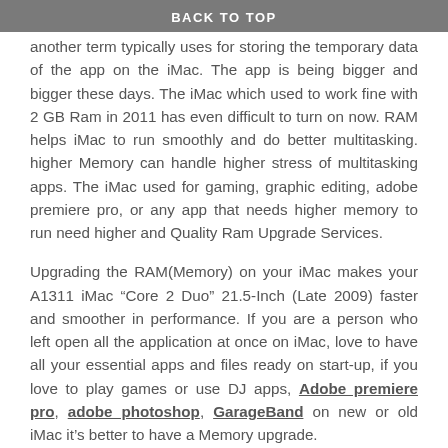BACK TO TOP
another term typically uses for storing the temporary data of the app on the iMac. The app is being bigger and bigger these days. The iMac which used to work fine with 2 GB Ram in 2011 has even difficult to turn on now. RAM helps iMac to run smoothly and do better multitasking. higher Memory can handle higher stress of multitasking apps. The iMac used for gaming, graphic editing, adobe premiere pro, or any app that needs higher memory to run need higher and Quality Ram Upgrade Services.
Upgrading the RAM(Memory) on your iMac makes your A1311 iMac “Core 2 Duo” 21.5-Inch (Late 2009) faster and smoother in performance. If you are a person who left open all the application at once on iMac, love to have all your essential apps and files ready on start-up, if you love to play games or use DJ apps, Adobe premiere pro, adobe photoshop, GarageBand on new or old iMac it’s better to have a Memory upgrade.